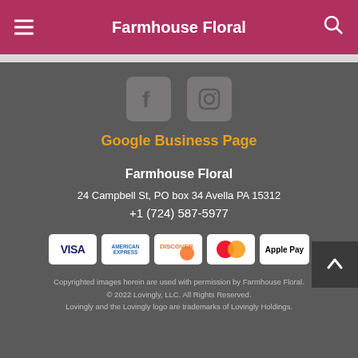Farmhouse Floral
[Figure (logo): Facebook icon - gray rounded square with white F logo]
[Figure (logo): Instagram icon - gray rounded square with camera logo]
Google Business Page
Farmhouse Floral
24 Campbell St, PO box 34 Avella PA 15312
+1 (724) 587-5977
[Figure (other): Payment method icons: VISA, American Express, Discover, Mastercard, Apple Pay]
Copyrighted images herein are used with permission by Farmhouse Floral.
© 2022 Lovingly, LLC. All Rights Reserved.
Lovingly and the Lovingly logo are trademarks of Lovingly Holdings.